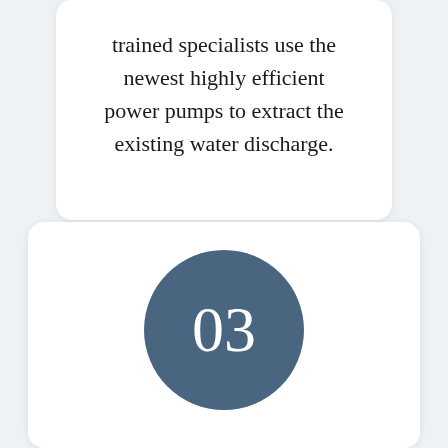trained specialists use the newest highly efficient power pumps to extract the existing water discharge.
[Figure (infographic): Circle badge with number 03 in dark blue-grey color]
Dehumidification
The next step to cover to make sure your